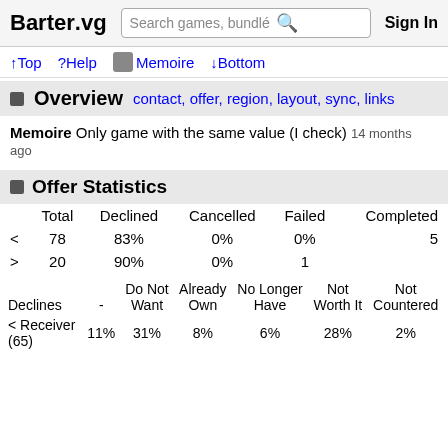Barter.vg  Search games, bundles  Sign In
↑Top  ?Help  Memoire  ↓Bottom
Overview  contact, offer, region, layout, sync, links
Memoire Only game with the same value (I check) 14 months ago
Offer Statistics
|  | Total | Declined | Cancelled | Failed | Completed |
| --- | --- | --- | --- | --- | --- |
| < | 78 | 83% | 0% | 0% | 5 |
| > | 20 | 90% | 0% | 1 |  |
| Declines | - | Do Not Want | Already Own | No Longer Have | Not Worth It | Not Countered |
| --- | --- | --- | --- | --- | --- | --- |
| < Receiver (65) | 11% | 31% | 8% | 6% | 28% | 2% |